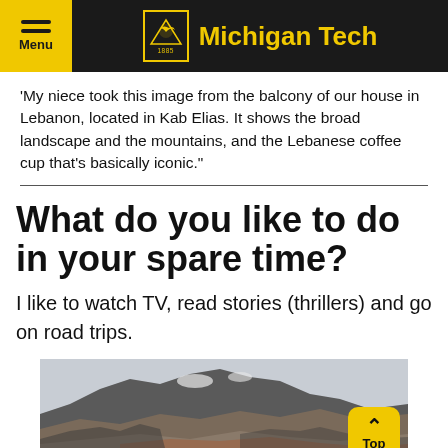Michigan Tech
'My niece took this image from the balcony of our house in Lebanon, located in Kab Elias. It shows the broad landscape and the mountains, and the Lebanese coffee cup that’s basically iconic.”
What do you like to do in your spare time?
I like to watch TV, read stories (thrillers) and go on road trips.
[Figure (photo): Rocky cliff face with layered stone, overcast sky in background]